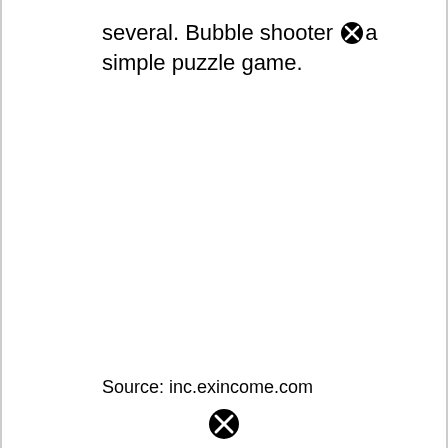several. Bubble shooter ⊗ a simple puzzle game.
Source: inc.exincome.com